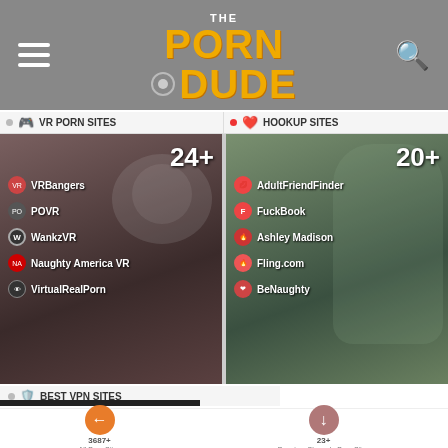The Porn Dude
VR PORN SITES
HOOKUP SITES
[Figure (screenshot): VR Porn Sites panel showing 24+ sites with list: VRBangers, POVR, WankzVR, Naughty America VR, VirtualRealPorn]
[Figure (screenshot): Hookup Sites panel showing 20+ sites with list: AdultFriendFinder, FuckBook, Ashley Madison, Fling.com, BeNaughty]
BEST VPN SITES
transfixed.com
3687+ All Porn Sites
23+ Premium Shemale Porn Sites